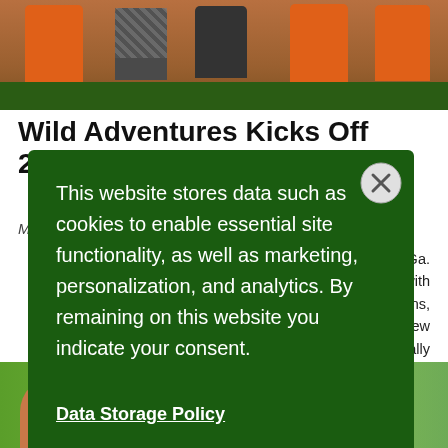[Figure (photo): Top photo showing orange and grey chairs/tables with a dark green surface, partial view of a restaurant or outdoor seating area]
Wild Adventures Kicks Off 2022 Season With New Event
March 16, 2022
...osta, Ga. ...day with ...ractions, ...a new ...nd locally
This website stores data such as cookies to enable essential site functionality, as well as marketing, personalization, and analytics. By remaining on this website you indicate your consent.
Data Storage Policy
[Figure (photo): Bottom strip showing people smiling, green background with decorative circle]